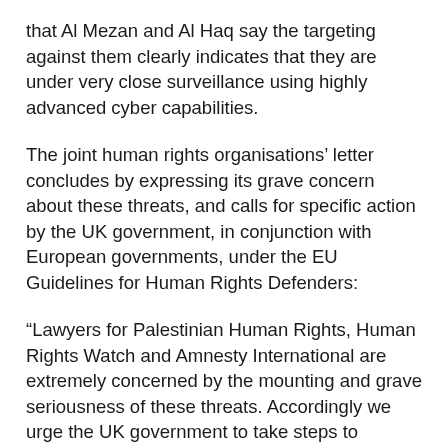that Al Mezan and Al Haq say the targeting against them clearly indicates that they are under very close surveillance using highly advanced cyber capabilities.
The joint human rights organisations' letter concludes by expressing its grave concern about these threats, and calls for specific action by the UK government, in conjunction with European governments, under the EU Guidelines for Human Rights Defenders:
“Lawyers for Palestinian Human Rights, Human Rights Watch and Amnesty International are extremely concerned by the mounting and grave seriousness of these threats. Accordingly we urge the UK government to take steps to highlight the threats and harassment faced by Palestinian human rights organisations and its staff members working for accountability and justice. In particular